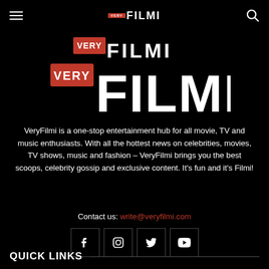≡  VERY FILMI  🔍
[Figure (logo): VeryFilmi logo — red badge with 'VERY' text above large bold white 'FILMI' text on black background]
VeryFilmi is a one-stop entertainment hub for all movie, TV and music enthusiasts. With all the hottest news on celebrities, movies, TV shows, music and fashion – VeryFilmi brings you the best scoops, celebrity gossip and exclusive content. It's fun and it's Filmi!
Contact us: write@veryfilmi.com
[Figure (infographic): Four social media icon buttons for Facebook, Instagram, Twitter, and YouTube]
QUICK LINKS